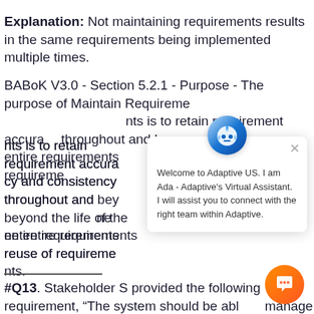Explanation: Not maintaining requirements results in the same requirements being implemented multiple times.
BABoK V3.0 - Section 5.2.1 - Purpose - The purpose of Maintain Requirements is to retain requirement accuracy and consistency throughout and beyond the life of the entire requirements and enabling the reuse of requirements.
[Figure (screenshot): Chat popup overlay showing a virtual assistant named Ada from Adaptive US, with close button and welcome message: 'Welcome to Adaptive US. I am Ada - Adaptive's Virtual Assistant. I will assist you to connect with the right team within Adaptive.' An orange chat button also appears.]
#Q13. Stakeholder S provided the following requirement, "The system should be able to manage schedule". The project glossary document does not describe the verb, Manage.